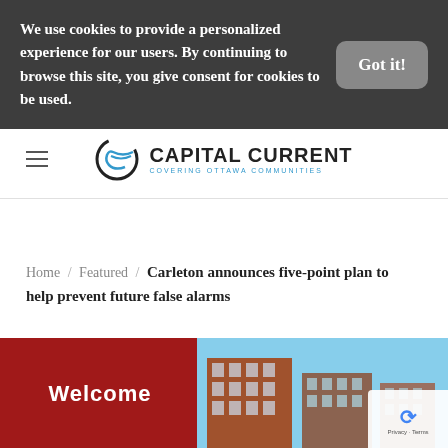We use cookies to provide a personalized experience for our users. By continuing to browse this site, you give consent for cookies to be used.
Got it!
[Figure (logo): Capital Current logo with stylized C and wave, text: CAPITAL CURRENT COVERING OTTAWA COMMUNITIES]
Home / Featured / Carleton announces five-point plan to help prevent future false alarms
[Figure (photo): Photo of Carleton University buildings with red Welcome sign in foreground]